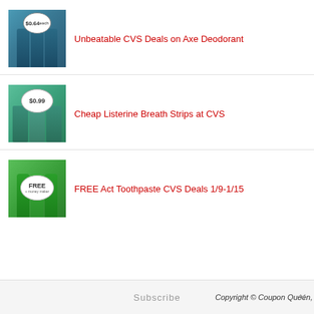Unbeatable CVS Deals on Axe Deodorant
[Figure (photo): Three Axe deodorant bottles with $0.64 price badge overlay]
Cheap Listerine Breath Strips at CVS
[Figure (photo): Three packs of Listerine Cool Mint breath strips with $0.99 price badge overlay]
FREE Act Toothpaste CVS Deals 1/9-1/15
[Figure (photo): Three tubes of ACT toothpaste with FREE badge overlay]
Copyright © Coupon Queen,